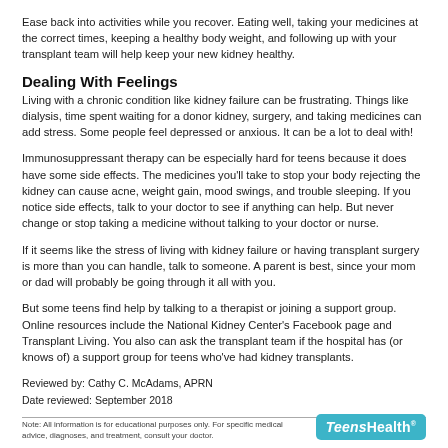Ease back into activities while you recover. Eating well, taking your medicines at the correct times, keeping a healthy body weight, and following up with your transplant team will help keep your new kidney healthy.
Dealing With Feelings
Living with a chronic condition like kidney failure can be frustrating. Things like dialysis, time spent waiting for a donor kidney, surgery, and taking medicines can add stress. Some people feel depressed or anxious. It can be a lot to deal with!
Immunosuppressant therapy can be especially hard for teens because it does have some side effects. The medicines you’ll take to stop your body rejecting the kidney can cause acne, weight gain, mood swings, and trouble sleeping. If you notice side effects, talk to your doctor to see if anything can help. But never change or stop taking a medicine without talking to your doctor or nurse.
If it seems like the stress of living with kidney failure or having transplant surgery is more than you can handle, talk to someone. A parent is best, since your mom or dad will probably be going through it all with you.
But some teens find help by talking to a therapist or joining a support group. Online resources include the National Kidney Center’s Facebook page and Transplant Living. You also can ask the transplant team if the hospital has (or knows of) a support group for teens who’ve had kidney transplants.
Reviewed by: Cathy C. McAdams, APRN
Date reviewed: September 2018
Note: All information is for educational purposes only. For specific medical advice, diagnoses, and treatment, consult your doctor.